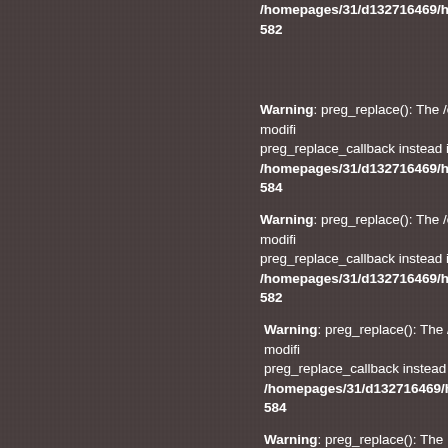/homepages/31/d132716469/htdocs/l... 582
Warning: preg_replace(): The /e modifi... preg_replace_callback instead in /homepages/31/d132716469/htdocs/l... 584
Warning: preg_replace(): The /e modifi... preg_replace_callback instead in /homepages/31/d132716469/htdocs/l... 582
Warning: preg_replace(): The /e modifi... preg_replace_callback instead in /homepages/31/d132716469/htdocs/l... 584
Warning: preg_replace(): The /e modifi... preg_replace_callback instead in /homepages/31/d132716469/htdocs/l... 582
Warning: preg_replace(): The /e modifi... preg_replace_callback instead in